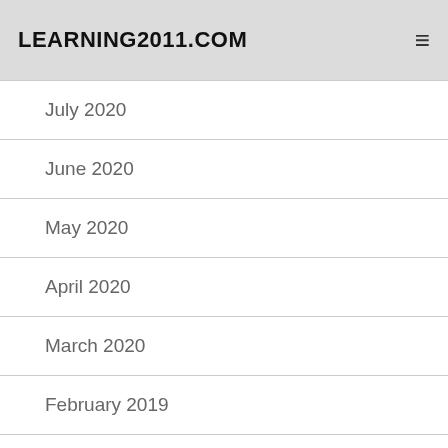LEARNING2011.COM
July 2020
June 2020
May 2020
April 2020
March 2020
February 2019
January 2019
December 2018
November 2018